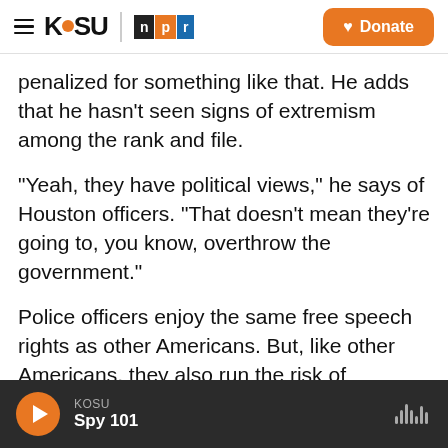KOSU | npr | Donate
penalized for something like that. He adds that he hasn't seen signs of extremism among the rank and file.
"Yeah, they have political views," he says of Houston officers. "That doesn't mean they're going to, you know, overthrow the government."
Police officers enjoy the same free speech rights as other Americans. But, like other Americans, they also run the risk of discipline or termination by their employers if they take a political stance that's considered beyond the pale.
KOSU | Spy 101